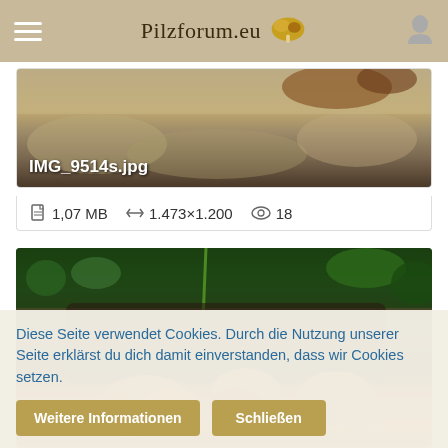Pilzforum.eu
[Figure (photo): Photo of mushrooms or fungi on sandy/rocky ground, labeled IMG_9514s.jpg]
1,07 MB   1.473×1.200   18
[Figure (photo): Close-up photo of orange fungi/mushrooms growing in dark soil with green moss]
Diese Seite verwendet Cookies. Durch die Nutzung unserer Seite erklärst du dich damit einverstanden, dass wir Cookies setzen.
Weitere Informationen   Schließen